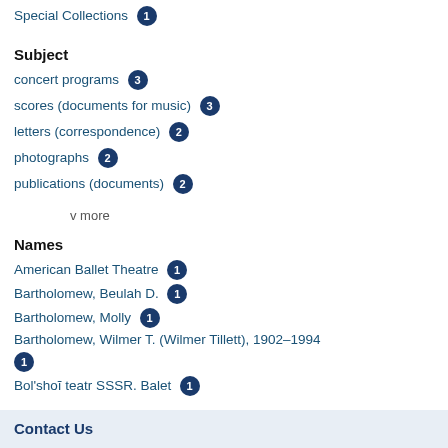Special Collections 1
Subject
concert programs 3
scores (documents for music) 3
letters (correspondence) 2
photographs 2
publications (documents) 2
v more
Names
American Ballet Theatre 1
Bartholomew, Beulah D. 1
Bartholomew, Molly 1
Bartholomew, Wilmer T. (Wilmer Tillett), 1902-1994 1
Bol'shoĭ teatr SSSR. Balet 1
v more
Contact Us